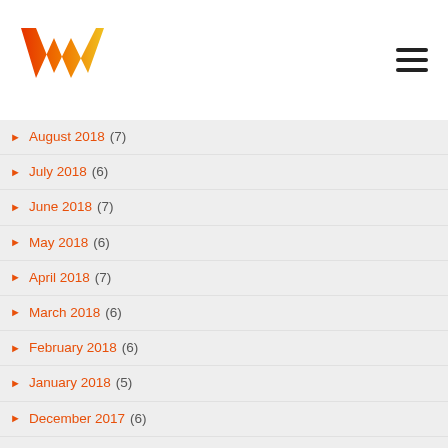W logo + hamburger menu
August 2018 (7)
July 2018 (6)
June 2018 (7)
May 2018 (6)
April 2018 (7)
March 2018 (6)
February 2018 (6)
January 2018 (5)
December 2017 (6)
November 2017 (7)
October 2017 (7)
September 2017 (6)
August 2017 (6)
July 2017 (7)
June 2017 (6)
May 2017 (7)